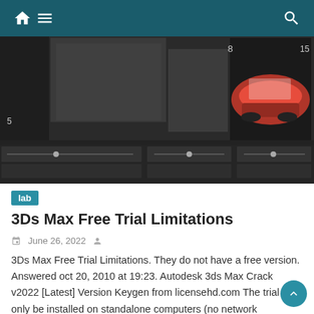Navigation bar with home, menu, and search icons
[Figure (screenshot): 3ds Max software interface screenshot showing multiple viewports with a red vintage car model, numbered UI elements including 5, 6, 8, 9, 12, 13, 15, and various panels and toolbars]
lab
3Ds Max Free Trial Limitations
June 26, 2022
3Ds Max Free Trial Limitations. They do not have a free version. Answered oct 20, 2010 at 19:23. Autodesk 3ds Max Crack v2022 [Latest] Version Keygen from licensehd.com The trial can only be installed on standalone computers (no network installation). To get your educational license for the software, follow the steps below. However, if you [...]